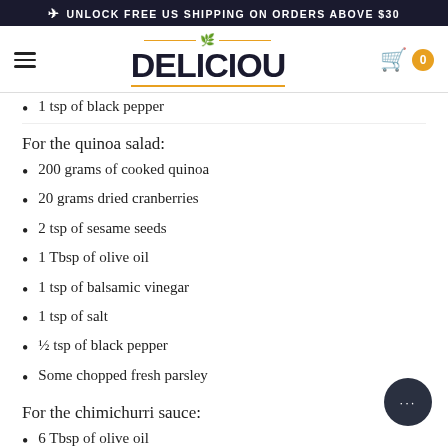✈ UNLOCK FREE US SHIPPING ON ORDERS ABOVE $30
[Figure (logo): Deliciou brand logo with leaf icon and golden underline, hamburger menu left, cart icon with badge right]
1 tsp of black pepper
For the quinoa salad:
200 grams of cooked quinoa
20 grams dried cranberries
2 tsp of sesame seeds
1 Tbsp of olive oil
1 tsp of balsamic vinegar
1 tsp of salt
½ tsp of black pepper
Some chopped fresh parsley
For the chimichurri sauce:
6 Tbsp of olive oil